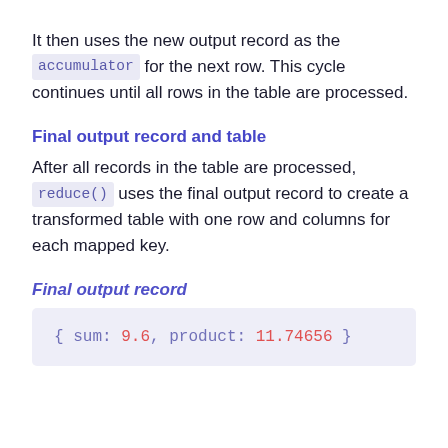It then uses the new output record as the accumulator for the next row. This cycle continues until all rows in the table are processed.
Final output record and table
After all records in the table are processed, reduce() uses the final output record to create a transformed table with one row and columns for each mapped key.
Final output record
{ sum: 9.6, product: 11.74656 }